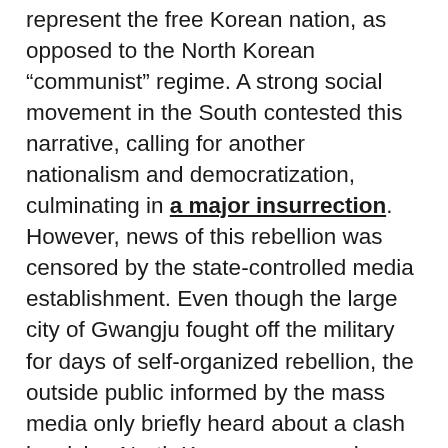represent the free Korean nation, as opposed to the North Korean “communist” regime. A strong social movement in the South contested this narrative, calling for another nationalism and democratization, culminating in a major insurrection. However, news of this rebellion was censored by the state-controlled media establishment. Even though the large city of Gwangju fought off the military for days of self-organized rebellion, the outside public informed by the mass media only briefly heard about a clash involving North Korean commandos.
Through out the 1970s and ’80s, social movements were largely united around these linked themes of nationalism and social democratization (with some accents of socialism); the only major conflicts were